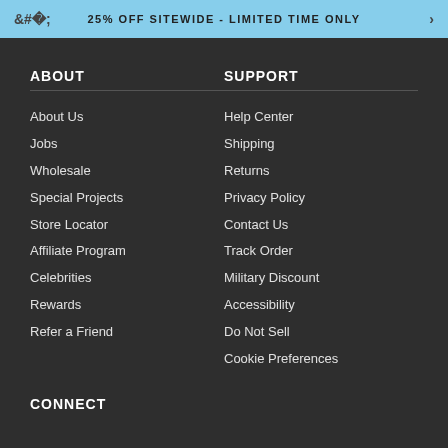25% OFF SITEWIDE - LIMITED TIME ONLY
ABOUT
About Us
Jobs
Wholesale
Special Projects
Store Locator
Affiliate Program
Celebrities
Rewards
Refer a Friend
SUPPORT
Help Center
Shipping
Returns
Privacy Policy
Contact Us
Track Order
Military Discount
Accessibility
Do Not Sell
Cookie Preferences
CONNECT